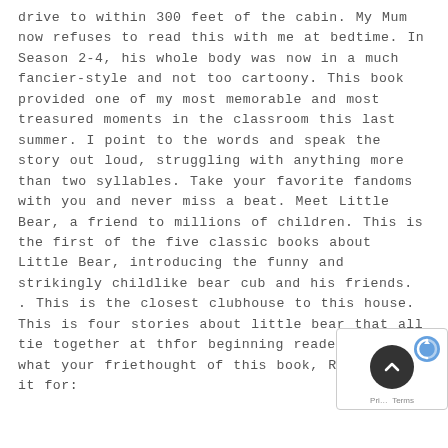drive to within 300 feet of the cabin. My Mum now refuses to read this with me at bedtime. In Season 2-4, his whole body was now in a much fancier-style and not too cartoony. This book provided one of my most memorable and most treasured moments in the classroom this last summer. I point to the words and speak the story out loud, struggling with anything more than two syllables. Take your favorite fandoms with you and never miss a beat. Meet Little Bear, a friend to millions of children. This is the first of the five classic books about Little Bear, introducing the funny and strikingly childlike bear cub and his friends. . This is the closest clubhouse to this house. This is four stories about little bear that all tie together at th... for beginning readers. To see what your frie... thought of this book, Recommends it for: Beginning Readers / Maurice Sendak Fans...
[Figure (other): A reCAPTCHA / scroll-to-top overlay widget appearing in the bottom-right corner, with a dark circular button with an upward chevron and a reCAPTCHA logo.]